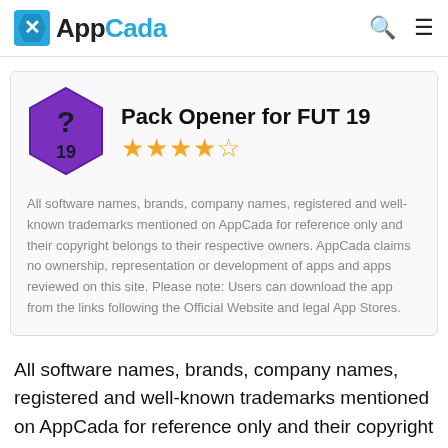AppCada
[Figure (logo): Purple hexagon badge with question mark and '19' text, app icon for Pack Opener for FUT 19]
Pack Opener for FUT 19
★★★★½
All software names, brands, company names, registered and well-known trademarks mentioned on AppCada for reference only and their copyright belongs to their respective owners. AppCada claims no ownership, representation or development of apps and apps reviewed on this site. Please note: Users can download the app from the links following the Official Website and legal App Stores.
All software names, brands, company names, registered and well-known trademarks mentioned on AppCada for reference only and their copyright belongs to their respective owners. AppCada claims no ownership, representation or development